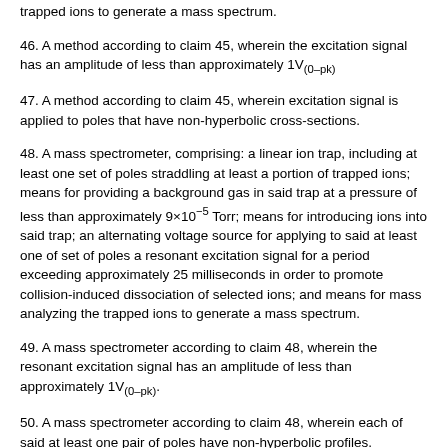trapped ions to generate a mass spectrum.
46. A method according to claim 45, wherein the excitation signal has an amplitude of less than approximately 1V(0–pk)
47. A method according to claim 45, wherein excitation signal is applied to poles that have non-hyperbolic cross-sections.
48. A mass spectrometer, comprising: a linear ion trap, including at least one set of poles straddling at least a portion of trapped ions; means for providing a background gas in said trap at a pressure of less than approximately 9×10−5 Torr; means for introducing ions into said trap; an alternating voltage source for applying to said at least one of set of poles a resonant excitation signal for a period exceeding approximately 25 milliseconds in order to promote collision-induced dissociation of selected ions; and means for mass analyzing the trapped ions to generate a mass spectrum.
49. A mass spectrometer according to claim 48, wherein the resonant excitation signal has an amplitude of less than approximately 1V(0–pk).
50. A mass spectrometer according to claim 48, wherein each of said at least one pair of poles have non-hyperbolic profiles.